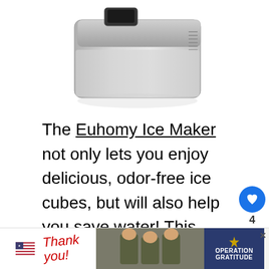[Figure (photo): Euhomy Ice Maker product photo, stainless steel countertop ice maker machine, top-down angled view on white background]
The Euhomy Ice Maker not only lets you enjoy delicious, odor-free ice cubes, but will also help you save water! This portable ice maker is equipped with a 2.2 liter water tank that actually re[cycles] the water in the tank. So, no water [is wasted]
[Figure (infographic): Sidebar UI: heart/like button (blue circle with heart icon), count label '4', share button (circle with share icon)]
[Figure (infographic): WHAT'S NEXT thumbnail panel: thumbnail of battery-powered fans article, text '10 Best Battery...']
[Figure (infographic): Advertisement banner at bottom: 'Thank you!' handwritten text with US flag graphic on left, soldiers photo in middle, Operation Gratitude logo on right]